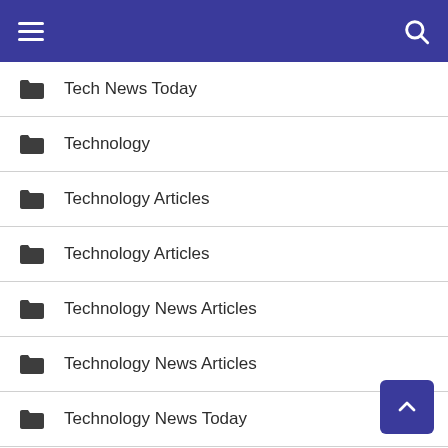Navigation menu with hamburger and search icons
Tech News Today
Technology
Technology Articles
Technology Articles
Technology News Articles
Technology News Articles
Technology News Today
Technology News Today
Technology Updates
Technology Updates
Web Resources